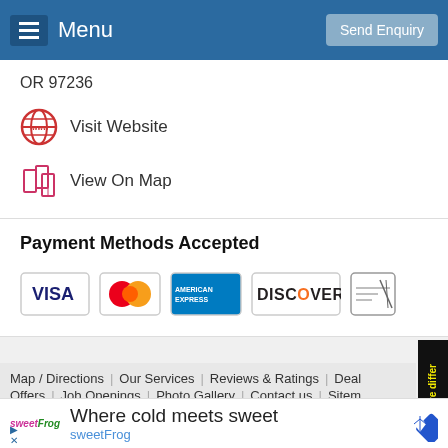Menu | Send Enquiry
OR 97236
Visit Website
View On Map
Payment Methods Accepted
[Figure (other): Payment method icons: VISA, MasterCard, American Express, Discover, Check]
Map / Directions | Our Services | Reviews & Ratings | Deal Offers | Job Openings | Photo Gallery | Contact us | Sitemap
[Figure (other): Advertisement: sweetFrog - Where cold meets sweet]